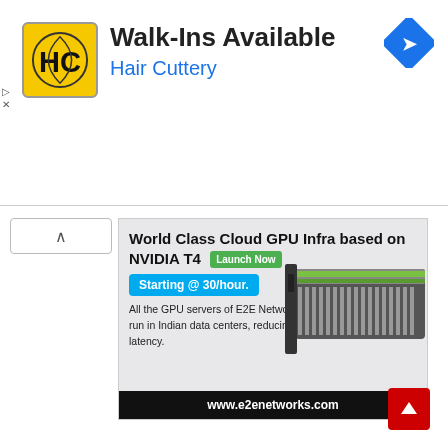[Figure (screenshot): Hair Cuttery advertisement banner with yellow HC logo, title 'Walk-Ins Available' and subtitle 'Hair Cuttery' in blue. Navigation arrow icon on right.]
Walk-Ins Available
Hair Cuttery
[Figure (screenshot): E2E Networks advertisement: 'World Class Cloud GPU Infra based on NVIDIA T4 Launch Now. Starting @ 30/hour. All the GPU servers of E2E Networks run in Indian data centers, reducing latency. www.e2enetworks.com' with image of NVIDIA T4 GPU card.]